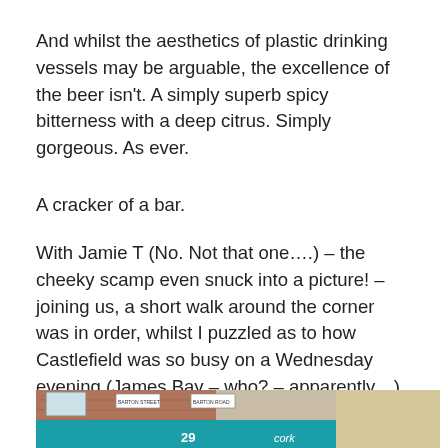And whilst the aesthetics of plastic drinking vessels may be arguable, the excellence of the beer isn't. A simply superb spicy bitterness with a deep citrus. Simply gorgeous. As ever.
A cracker of a bar.
With Jamie T (No. Not that one….) – the cheeky scamp even snuck into a picture! – joining us, a short walk around the corner was in order, whilst I puzzled as to how Castlefield was so busy on a Wednesday evening (James Bay – who? – apparently…)
[Figure (photo): Exterior photo of a corner bar/pub with a teal/turquoise fascia, the number 29 visible, and brick buildings above. Street signs for Barton Street and Barton Road are visible at the corner.]